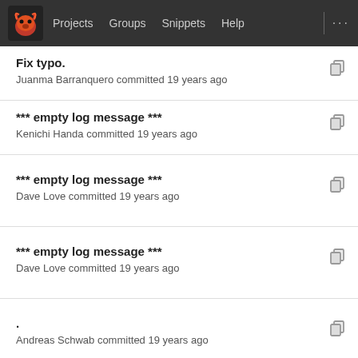Projects  Groups  Snippets  Help
Fix typo.
Juanma Barranquero committed 19 years ago
*** empty log message ***
Kenichi Handa committed 19 years ago
*** empty log message ***
Dave Love committed 19 years ago
*** empty log message ***
Dave Love committed 19 years ago
.
Andreas Schwab committed 19 years ago